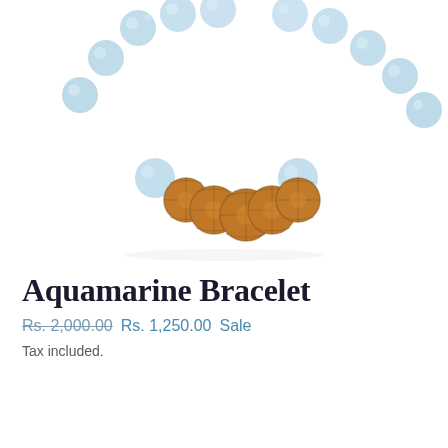[Figure (photo): Close-up photo of an Aquamarine Bracelet showing light blue aquamarine beads alternating with brown rudraksha beads in the center, arranged in a curved necklace/bracelet shape on a white background.]
Aquamarine Bracelet
Rs. 2,000.00  Rs. 1,250.00 Sale
Tax included.